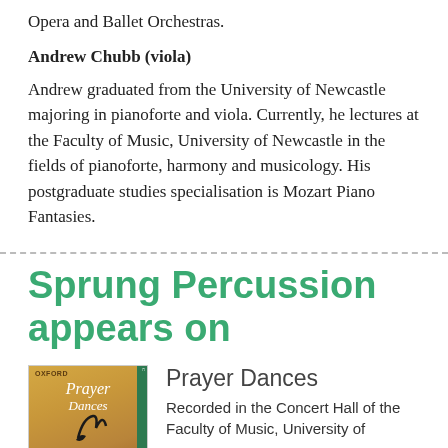Opera and Ballet Orchestras.
Andrew Chubb (viola)
Andrew graduated from the University of Newcastle majoring in pianoforte and viola. Currently, he lectures at the Faculty of Music, University of Newcastle in the fields of pianoforte, harmony and musicology. His postgraduate studies specialisation is Mozart Piano Fantasies.
Sprung Percussion appears on
[Figure (photo): Album cover for Prayer Dances with golden/amber background and stylized bird/musical icon]
Prayer Dances
Recorded in the Concert Hall of the Faculty of Music, University of